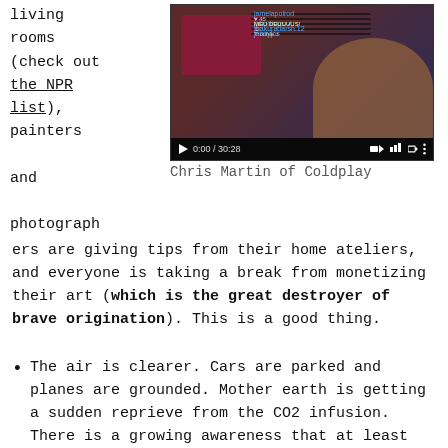living rooms (check out the NPR list), painters and photographers are giving tips from their home ateliers, and everyone is taking a break from monetizing their art (which is the great destroyer of brave origination). This is a good thing.
[Figure (screenshot): Video screenshot showing a person playing guitar, with social media comments overlaid. Video controls show 0:00 / 30:28 at bottom.]
Chris Martin of Coldplay
The air is clearer. Cars are parked and planes are grounded. Mother earth is getting a sudden reprieve from the CO2 infusion. There is a growing awareness that at least from an ecological